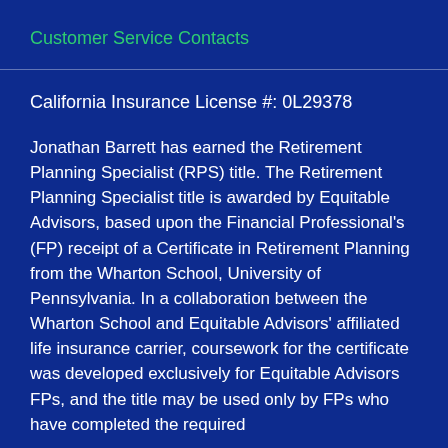Customer Service Contacts
California Insurance License #: 0L29378
Jonathan Barrett has earned the Retirement Planning Specialist (RPS) title. The Retirement Planning Specialist title is awarded by Equitable Advisors, based upon the Financial Professional's (FP) receipt of a Certificate in Retirement Planning from the Wharton School, University of Pennsylvania. In a collaboration between the Wharton School and Equitable Advisors' affiliated life insurance carrier, coursework for the certificate was developed exclusively for Equitable Advisors FPs, and the title may be used only by FPs who have completed the required